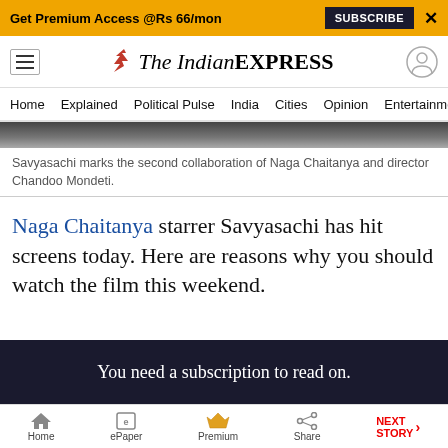Get Premium Access @Rs 66/mon  SUBSCRIBE  X
The Indian EXPRESS — navigation header
Home  Explained  Political Pulse  India  Cities  Opinion  Entertainment
[Figure (photo): Partial black and white image strip at top of article]
Savyasachi marks the second collaboration of Naga Chaitanya and director Chandoo Mondeti.
Naga Chaitanya starrer Savyasachi has hit screens today. Here are reasons why you should watch the film this weekend.
You need a subscription to read on.
Home  ePaper  Premium  Share  NEXT STORY